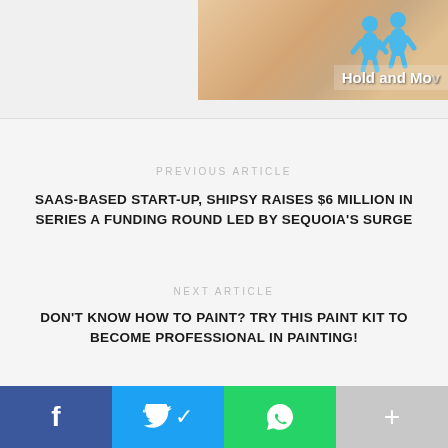[Figure (illustration): Partial screenshot of a game or app titled 'Hold and Mo...' with illustrated blue figures on a brown/beige background]
PREVIOUS ARTICLE
SAAS-BASED START-UP, SHIPSY RAISES $6 MILLION IN SERIES A FUNDING ROUND LED BY SEQUOIA'S SURGE
NEXT ARTICLE
DON'T KNOW HOW TO PAINT? TRY THIS PAINT KIT TO BECOME PROFESSIONAL IN PAINTING!
CHHAVIDEEP SINGH